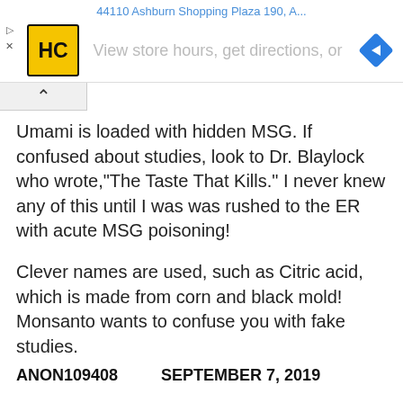44110 Ashburn Shopping Plaza 190, A...
[Figure (screenshot): Advertisement banner with HC logo, navigation icon, and text 'View store hours, get directions, or ...']
Umami is loaded with hidden MSG. If confused about studies, look to Dr. Blaylock who wrote,"The Taste That Kills." I never knew any of this until I was was rushed to the ER with acute MSG poisoning!

Clever names are used, such as Citric acid, which is made from corn and black mold! Monsanto wants to confuse you with fake studies.
ANON109408   SEPTEMBER 7, 2019